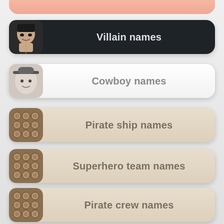Villain names
Cowboy names
Pirate ship names
Superhero team names
Pirate crew names
Genie names